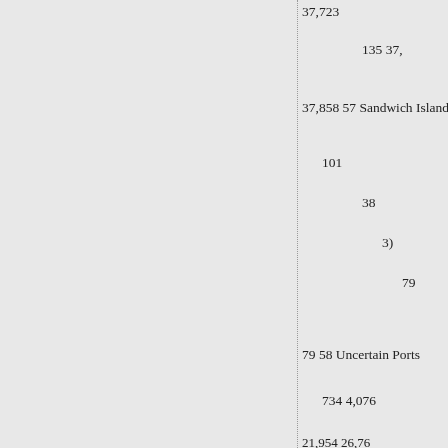37,723
135 37,
37,858 57 Sandwich Islands
101
38
3)
79
79 58 Uncertain Ports
734 4,076
21,954 26,76
26,764 Total Dollars 12,567,
Trrasury Department, Regist
| Total. |
| --- |
| 146,000 |
| 3,215,000 |
| 4,914,000 |